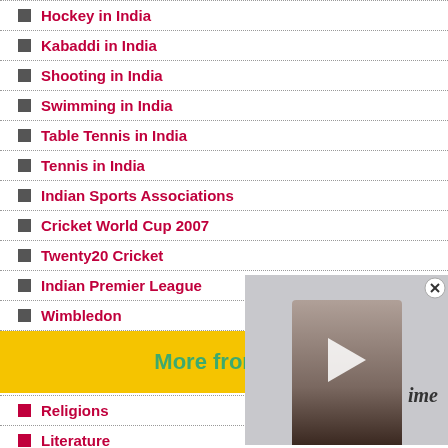Hockey in India
Kabaddi in India
Shooting in India
Swimming in India
Table Tennis in India
Tennis in India
Indian Sports Associations
Cricket World Cup 2007
Twenty20 Cricket
Indian Premier League
Wimbledon
More from ilo...
[Figure (other): Video overlay showing a woman with dark hair, Amazon Prime watermark, play button, and close button]
Religions
Literature